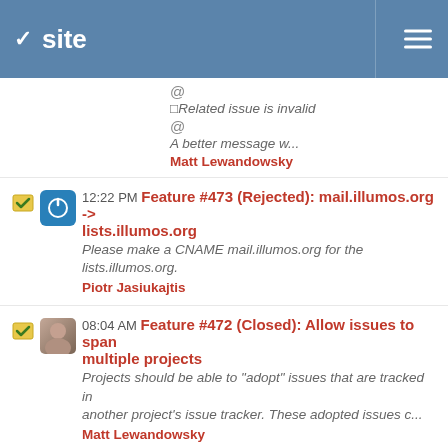site
@
☐Related issue is invalid
@
A better message w...
Matt Lewandowsky
12:22 PM Feature #473 (Rejected): mail.illumos.org -> lists.illumos.org
Please make a CNAME mail.illumos.org for the lists.illumos.org.
Piotr Jasiukajtis
08:04 AM Feature #472 (Closed): Allow issues to span multiple projects
Projects should be able to "adopt" issues that are tracked in another project's issue tracker. These adopted issues c...
Matt Lewandowsky
08:02 AM Feature #471 (Resolved): Make jumping between projects easier for bug tracking